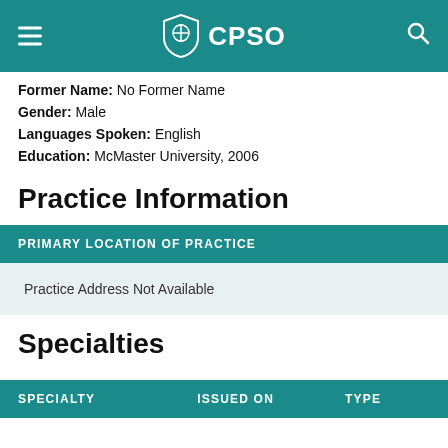CPSO
Former Name: No Former Name
Gender: Male
Languages Spoken: English
Education: McMaster University, 2006
Practice Information
| PRIMARY LOCATION OF PRACTICE |
| --- |
| Practice Address Not Available |
Specialties
| SPECIALTY | ISSUED ON | TYPE |
| --- | --- | --- |